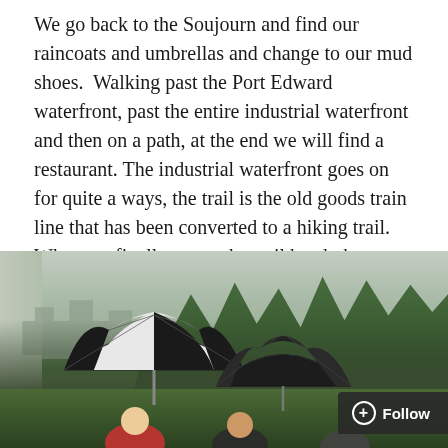We go back to the Soujourn and find our raincoats and umbrellas and change to our mud shoes.  Walking past the Port Edward waterfront, past the entire industrial waterfront and then on a path, at the end we will find a restaurant. The industrial waterfront goes on for quite a ways, the trail is the old goods train line that has been converted to a hiking trail. When we finally got to the trail head, the outlook was gorgeous and large bridges made the trail easy to traverse.
Still, it was raining.
[Figure (photo): People holding umbrellas (one large black-and-white umbrella, one black umbrella) on a rainy day outdoors with green trees and buildings in the background. Overcast sky.]